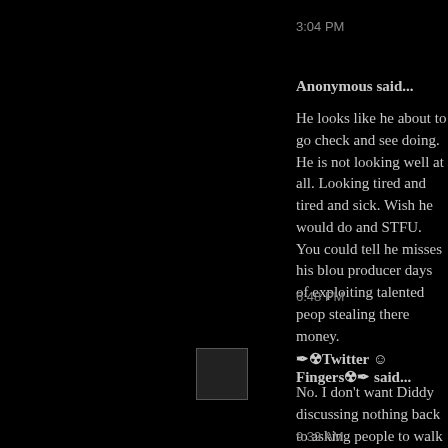3:04 PM
Anonymous said...
He looks like he about to go check and see doing. He is not looking well at all. Looking tired and tired and sick. Wish he would do and STFU. You could tell he misses his blou producer days of exploiting talented peop stealing there money.
6:48 PM
✒☢Twitter ☺ Fingers☢✒ said...
No. I don't want Diddy discussing nothing back to asking people to walk to Brooklyn cheesecake
9:39 AM